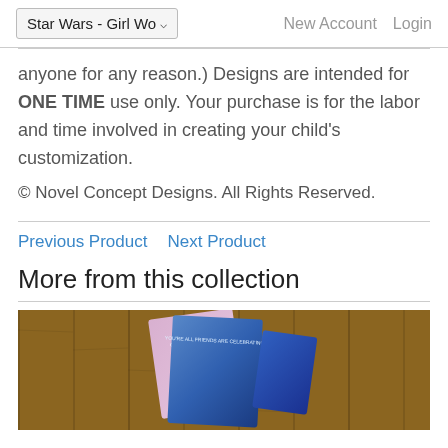Star Wars - Girl Wo... | New Account | Login
anyone for any reason.) Designs are intended for ONE TIME use only. Your purchase is for the labor and time involved in creating your child's customization.
© Novel Concept Designs. All Rights Reserved.
Previous Product   Next Product
More from this collection
[Figure (photo): Product image showing greeting cards on a wooden background]